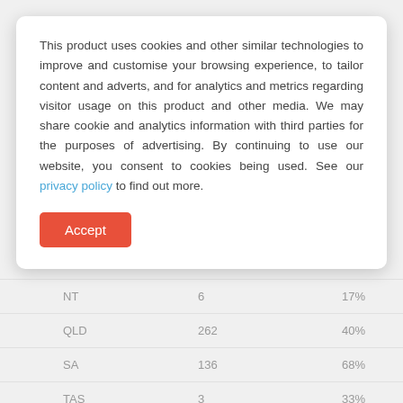This product uses cookies and other similar technologies to improve and customise your browsing experience, to tailor content and adverts, and for analytics and metrics regarding visitor usage on this product and other media. We may share cookie and analytics information with third parties for the purposes of advertising. By continuing to use our website, you consent to cookies being used. See our privacy policy to find out more.
Accept
| NT | 6 | 17% |
| QLD | 262 | 40% |
| SA | 136 | 68% |
| TAS | 3 | 33% |
| VIC | 857 | 60% |